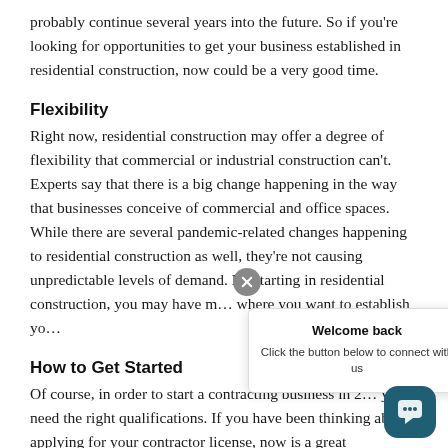probably continue several years into the future. So if you're looking for opportunities to get your business established in residential construction, now could be a very good time.
Flexibility
Right now, residential construction may offer a degree of flexibility that commercial or industrial construction can't. Experts say that there is a big change happening in the way that businesses conceive of commercial and office spaces. While there are several pandemic-related changes happening to residential construction as well, they're not causing unpredictable levels of demand. By starting in residential construction, you may have more control over where you want to establish yo...
How to Get Started
Of course, in order to start a contracting business in 2... you need the right qualifications. If you have been thinking about applying for your contractor license, now is a great...